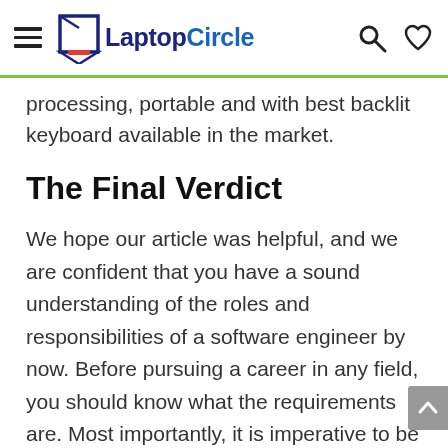LaptopCircle
processing, portable and with best backlit keyboard available in the market.
The Final Verdict
We hope our article was helpful, and we are confident that you have a sound understanding of the roles and responsibilities of a software engineer by now. Before pursuing a career in any field, you should know what the requirements are. Most importantly, it is imperative to be sure whether you are genuinely passionate about the particular discipline.